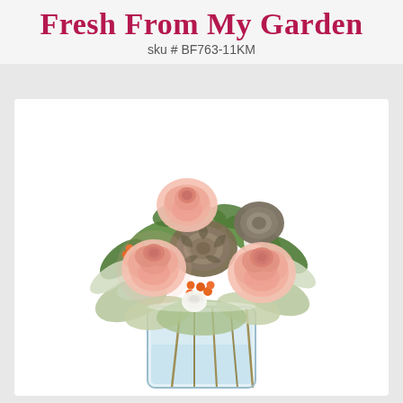Fresh From My Garden
sku # BF763-11KM
[Figure (photo): A floral arrangement called 'Fresh From My Garden' featuring pink roses, succulents, orange hypericum berries, white lisianthus, and dusty miller foliage in a clear glass cylindrical vase with water visible and stems showing through the glass.]